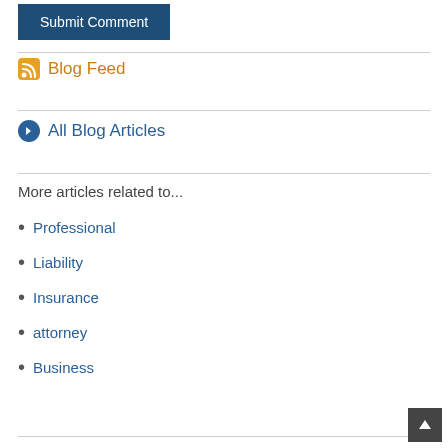Submit Comment
Blog Feed
All Blog Articles
More articles related to...
Professional
Liability
Insurance
attorney
Business